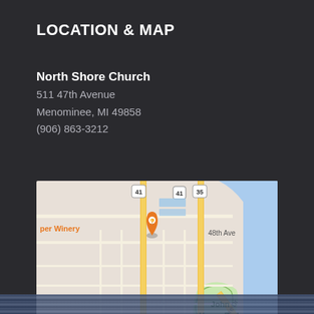LOCATION & MAP
North Shore Church
511 47th Avenue
Menominee, MI 49858
(906) 863-3212
[Figure (map): Google Maps screenshot showing the area near North Shore Church at 511 47th Avenue, Menominee, MI. Shows roads including Route 41, Route 35, 48th Ave, and Shore Dr. Notable landmark John Henes Park is visible in the lower right. An orange map pin marker is shown near 'per Winery' label. Blue water (Lake Michigan/Green Bay) visible on the right side.]